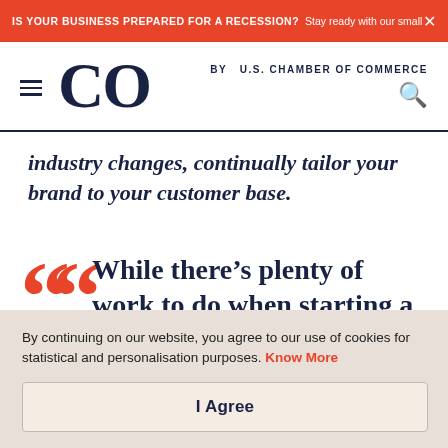IS YOUR BUSINESS PREPARED FOR A RECESSION? Stay ready with our small busin...
CO by U.S. CHAMBER OF COMMERCE
industry changes, continually tailor your brand to your customer base.
While there's plenty of work to do when starting a
By continuing on our website, you agree to our use of cookies for statistical and personalisation purposes. Know More
I Agree